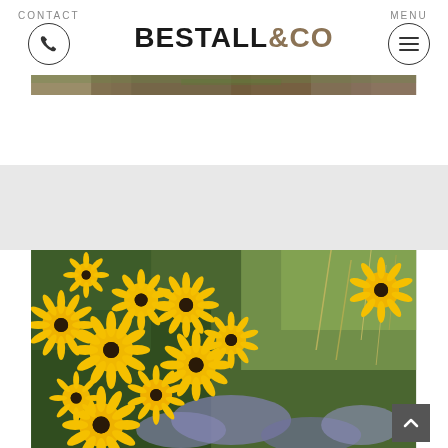CONTACT   BESTALL&CO   MENU
[Figure (photo): Partial view of a garden/landscape photo strip near the top of the page]
[Figure (photo): Close-up photograph of bright yellow black-eyed Susan (Rudbeckia) flowers with dark centers, mixed with purple catmint and ornamental grasses in a garden border]